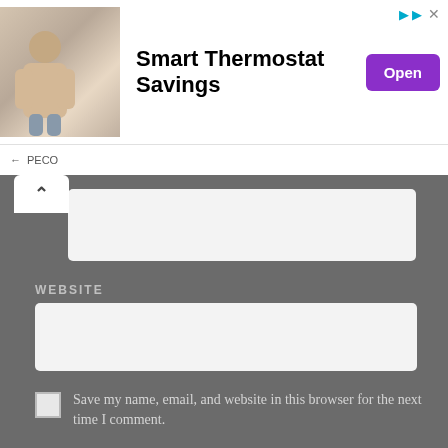[Figure (screenshot): Advertisement banner for PECO Smart Thermostat Savings with photo of woman and Open button]
[Figure (screenshot): Web form UI showing collapsed section, a text input box, WEBSITE label, website input field, save my name checkbox, and POST COMMENT button on dark gray background]